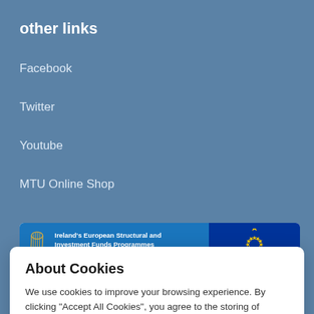other links
Facebook
Twitter
Youtube
MTU Online Shop
[Figure (infographic): Ireland's European Structural and Investment Funds Programmes 2014-2020 banner with harp logo and EU flag stars]
About Cookies
We use cookies to improve your browsing experience. By clicking “Accept All Cookies”, you agree to the storing of cookies on your device to enhance site navigation, analyse site usage, and assist in our marketing efforts. You can modify your cookie preferences by clicking on manage preferences option. Cookie Policy
Allow all